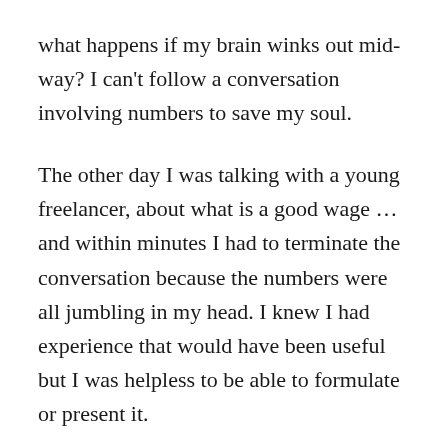what happens if my brain winks out mid-way? I can't follow a conversation involving numbers to save my soul.
The other day I was talking with a young freelancer, about what is a good wage … and within minutes I had to terminate the conversation because the numbers were all jumbling in my head. I knew I had experience that would have been useful but I was helpless to be able to formulate or present it.
I can't work in a store or a restaurant, both of which I have done in the past. I can't commit anything to memory, I must write down everything if I don't want to forget. I can't carry on a philosophical debate for more than about 10 minutes before my grasp of the language